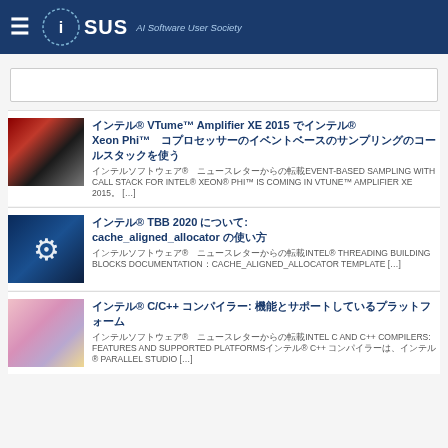≡ iSUS AI Software User Society
検索ボックス
インテル® VTume™ Amplifier XE 2015 でインテル® Xeon Phi™ コプロセッサーのイベントベースのサンプリングのコールスタックを使う
インテルソフトウェア® ニュースレターからの転載EVENT-BASED SAMPLING WITH CALL STACK FOR INTEL® XEON® PHI™ IS COMING IN VTUNE™ AMPLIFIER XE 2015。 [...]
インテル® TBB 2020 について: cache_aligned_allocator の使い方
インテルソフトウェア® ニュースレターからの転載INTEL® THREADING BUILDING BLOCKS DOCUMENTATION：CACHE_ALIGNED_ALLOCATOR TEMPLATE [...]
インテル® C/C++ コンパイラー: 機能とサポートしているプラットフォーム
インテルソフトウェア® ニュースレターからの転載INTEL C AND C++ COMPILERS: FEATURES AND SUPPORTED PLATFORMS インテル® C++ コンパイラーは、インテル® PARALLEL STUDIO [...]